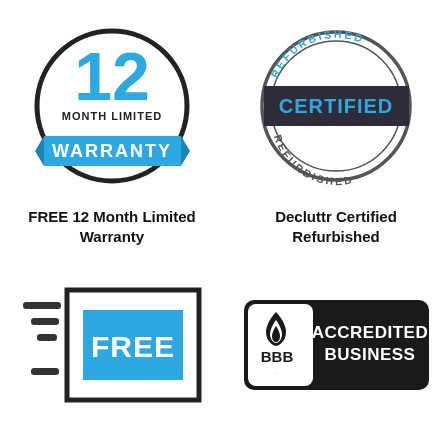[Figure (illustration): 12 Month Limited Warranty badge: circle with '12' in blue, 'MONTH LIMITED' text, and a blue ribbon banner with 'WARRANTY' in white]
FREE 12 Month Limited Warranty
[Figure (illustration): Refurbished Certified stamp: circular stamp with 'REFURBISHED' curved text top and bottom, dark banner with 'CERTIFIED' in blue]
Decluttr Certified Refurbished
[Figure (illustration): Free shipping icon: a price tag/box outline with lines on left and blue 'FREE' label inside]
[Figure (logo): BBB Accredited Business badge: black rounded rectangle with BBB flame logo and 'ACCREDITED BUSINESS' text in white]